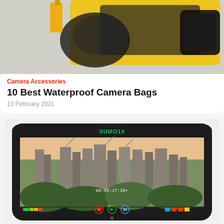[Figure (photo): Partial view of a yellow and black professional video/cinema camera being held by someone, with a viewfinder attachment visible, cropped at top of page]
Camera Accessories
10 Best Waterproof Camera Bags
13 February 2021
[Figure (photo): Atomos Sumo 19 field monitor displaying a cityscape at sunset with green SUMO19 branding on top, playback controls and recording timecode visible on screen]
Camera Accessories
10 Best Camera Monitors